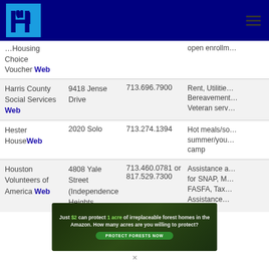H logo header with hamburger menu
| Organization | Address | Phone | Services |
| --- | --- | --- | --- |
| Housing Choice Voucher Web |  |  | open enrollment |
| Harris County Social Services Web | 9418 Jense Drive | 713.696.7900 | Rent, Utilities, Bereavement, Veteran services |
| Hester House Web | 2020 Solo | 713.274.1394 | Hot meals/summer/youth camp |
| Houston Volunteers of America Web | 4808 Yale Street (Independence Heights) | 713.460.0781 or 817.529.7300 | Assistance for SNAP, FASFA, Tax Assistance |
[Figure (other): Advertisement banner: Just $2 can protect 1 acre of irreplaceable forest homes in the Amazon. How many acres are you willing to protect? PROTECT FORESTS NOW]